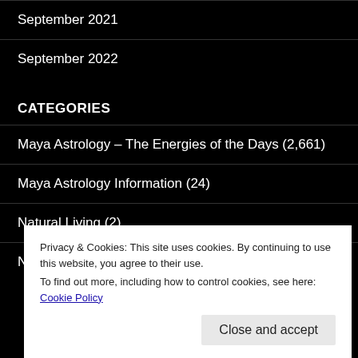September 2021
September 2022
CATEGORIES
Maya Astrology – The Energies of the Days (2,661)
Maya Astrology Information (24)
Natural Living (2)
Nutrition and Food (4)
Privacy & Cookies: This site uses cookies. By continuing to use this website, you agree to their use. To find out more, including how to control cookies, see here: Cookie Policy
Close and accept